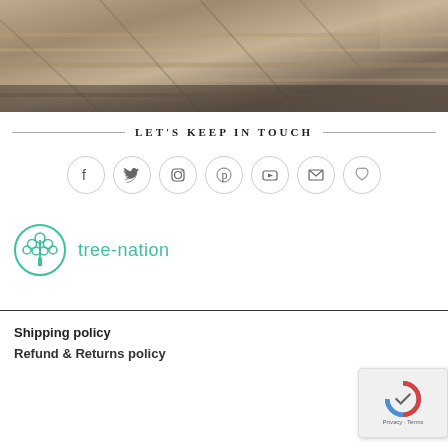[Figure (photo): Top-down photo of stacked folded fabric/textile pieces with plaid and woven patterns in beige, tan, and muted colors on a grey surface]
LET'S KEEP IN TOUCH
[Figure (infographic): Row of 7 circular social media icon buttons: Facebook, Twitter, Instagram, Pinterest, YouTube, Email/envelope, and Heart/wishlist]
[Figure (logo): Tree-nation logo: teal circular tree icon with text 'tree-nation' in teal]
Shipping policy
Refund & Returns policy